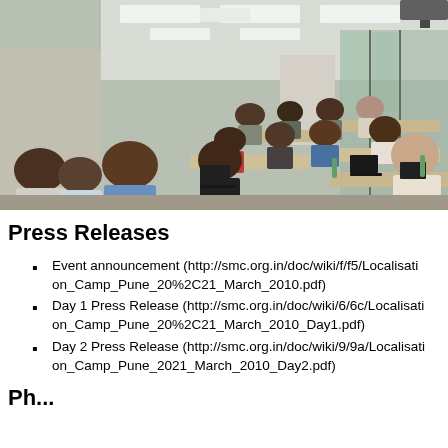[Figure (photo): Photograph of a classroom/training session with approximately 20-25 people seated at desks with laptops in an office room with glass walls and fluorescent lighting.]
Press Releases
Event announcement (http://smc.org.in/doc/wiki/f/f5/Localisation_Camp_Pune_20%2C21_March_2010.pdf)
Day 1 Press Release (http://smc.org.in/doc/wiki/6/6c/Localisation_Camp_Pune_20%2C21_March_2010_Day1.pdf)
Day 2 Press Release (http://smc.org.in/doc/wiki/9/9a/Localisation_Camp_Pune_2021_March_2010_Day2.pdf)
Ph...